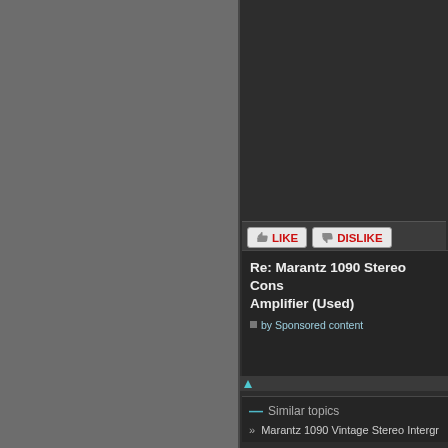[Figure (screenshot): Left gray panel background (sidebar)]
[Figure (screenshot): Dark right panel - forum/web page content area]
LIKE  DISLIKE
Re: Marantz 1090 Stereo Cons Amplifier (Used)
by Sponsored content
Similar topics
» Marantz 1090 Vintage Stereo Intergr